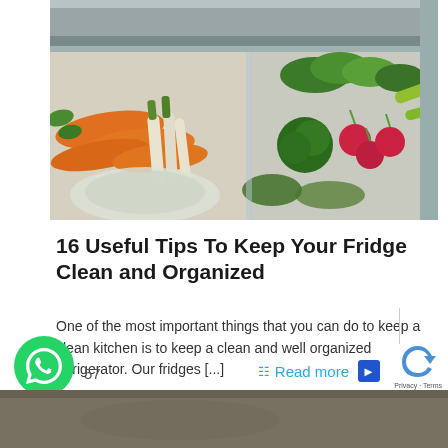[Figure (photo): Open refrigerator crisper drawer filled with fresh vegetables including carrots, radishes, broccoli, leafy greens, and a cabbage in a plastic bag]
16 Useful Tips To Keep Your Fridge Clean and Organized
One of the most important things that you can do to keep a clean kitchen is to keep a clean and well organized refrigerator. Our fridges [...]
57
Read more
[Figure (photo): Bottom portion of another article image, partially visible]
Privacy · Terms